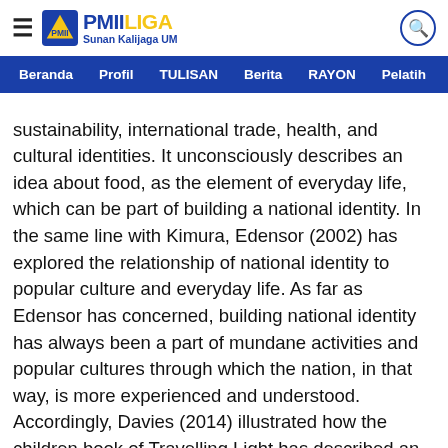PMII LIGA Sunan Kalijaga UM
Beranda   Profil   TULISAN   Berita   RAYON   Pelatih
sustainability, international trade, health, and cultural identities. It unconsciously describes an idea about food, as the element of everyday life, which can be part of building a national identity. In the same line with Kimura, Edensor (2002) has explored the relationship of national identity to popular culture and everyday life. As far as Edensor has concerned, building national identity has always been a part of mundane activities and popular cultures through which the nation, in that way, is more experienced and understood. Accordingly, Davies (2014) illustrated how the children book of Travelling Light has described an idea of a nation as the safest place from dangerous and vulnerable life outside. In that way, Davis also expressed that the book also tries to invoke the idea of the motherland to the